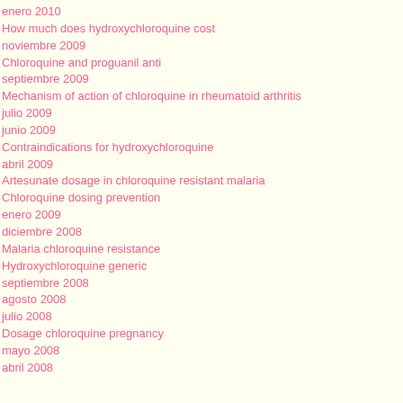enero 2010
How much does hydroxychloroquine cost
noviembre 2009
Chloroquine and proguanil anti
septiembre 2009
Mechanism of action of chloroquine in rheumatoid arthritis
julio 2009
junio 2009
Contraindications for hydroxychloroquine
abril 2009
Artesunate dosage in chloroquine resistant malaria
Chloroquine dosing prevention
enero 2009
diciembre 2008
Malaria chloroquine resistance
Hydroxychloroquine generic
septiembre 2008
agosto 2008
julio 2008
Dosage chloroquine pregnancy
mayo 2008
abril 2008